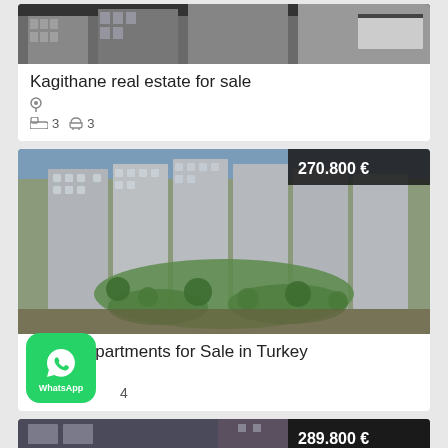[Figure (photo): Exterior architectural photo of a modern building, partially cropped at top]
Kagithane real estate for sale
Location pin icon
Bed icon 3  Bath icon 3
[Figure (photo): Aerial rendering of a large residential apartment complex with green courtyard, price badge showing 270.800 €]
Cheap Apartments for Sale in Turkey
Location pin icon
4
[Figure (photo): Partially visible building photo at bottom with price badge showing 289.800 €]
[Figure (logo): WhatsApp green button with logo and text WhatsApp]